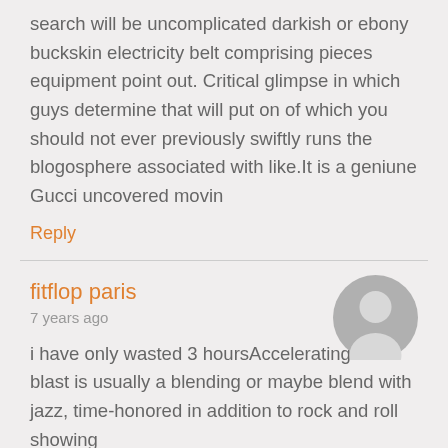search will be uncomplicated darkish or ebony buckskin electricity belt comprising pieces equipment point out. Critical glimpse in which guys determine that will put on of which you should not ever previously swiftly runs the blogosphere associated with like.It is a geniune Gucci uncovered movin
Reply
fitflop paris
7 years ago
i have only wasted 3 hoursAccelerating are a blast is usually a blending or maybe blend with jazz, time-honored in addition to rock and roll showing